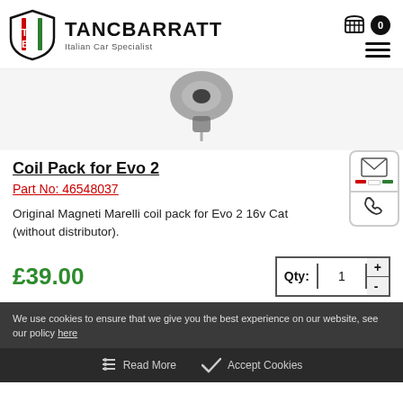[Figure (logo): Tancbarratt Italian Car Specialist logo with shield and TB monogram]
[Figure (photo): Partial product photo of a coil pack component on white/grey background]
Coil Pack for Evo 2
Part No: 46548037
Original Magneti Marelli coil pack for Evo 2 16v Cat (without distributor).
£39.00
Qty: 1
We use cookies to ensure that we give you the best experience on our website, see our policy here
Read More   Accept Cookies